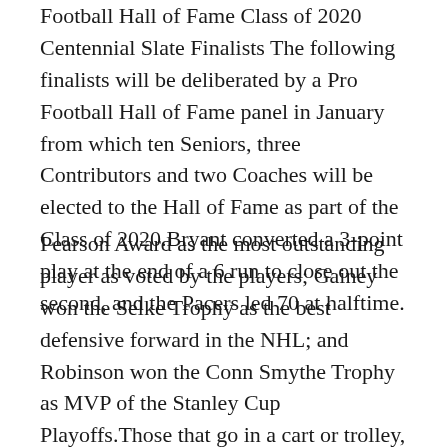Football Hall of Fame Class of 2020 Centennial Slate Finalists The following finalists will be deliberated by a Pro Football Hall of Fame panel in January from which ten Seniors, three Contributors and two Coaches will be elected to the Hall of Fame as part of the Class of 2020.Bryant converted a 3-point play at the end of a 6 run to close out the second, and the Pacers led 70 at halftime.
Pearson Award as the most outstanding player as voted by the players; Gainey won the Selke Trophy as the best defensive forward in the NHL; and Robinson won the Conn Smythe Trophy as MVP of the Stanley Cup Playoffs.Those that go in a cart or trolley, and those that stand on the ground.Ticker: TRUP According to the American Pet Products Association, an estimated $75 billion will be spent on our pets in 2019, with $19 billion alone on veterinary care.This is a tough matchup against the